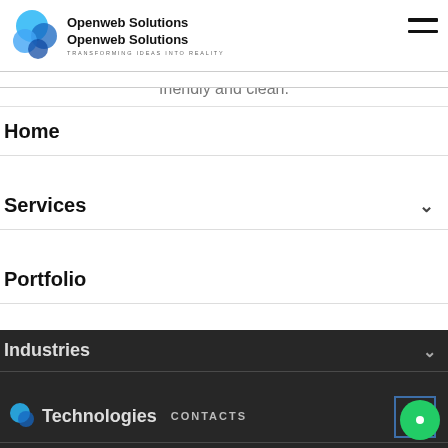Openweb Solutions
Openweb Solutions
TRANSFORMING IDEAS INTO REALITY
friendly and clean.
Home
Services
Portfolio
Industries
Technologies
CONTACTS
Company  +1 813-489-6759 (USA)
Blog  +91 9830934525 (India-Sales)
+91 3346031700 (HR)
Contact  sales@openwebsolutions.in